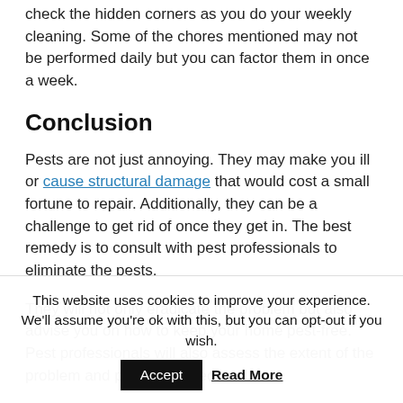check the hidden corners as you do your weekly cleaning. Some of the chores mentioned may not be performed daily but you can factor them in once a week.
Conclusion
Pests are not just annoying. They may make you ill or cause structural damage that would cost a small fortune to repair. Additionally, they can be a challenge to get rid of once they get in. The best remedy is to consult with pest professionals to eliminate the pests.
They will not only eradicate the problem but also advise you on how to keep your home pest-free. Pest professionals will also assess the extent of the problem and prescribe effective
This website uses cookies to improve your experience. We'll assume you're ok with this, but you can opt-out if you wish. Accept Read More